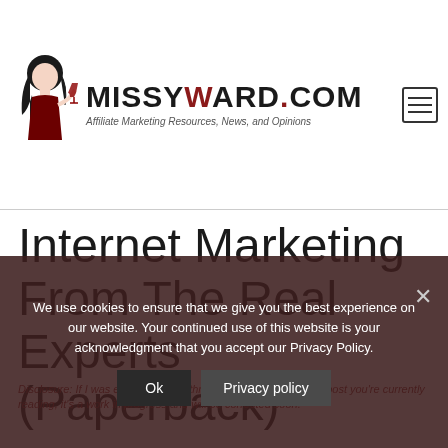[Figure (logo): MissyWard.com logo with illustrated woman holding wine glass and site name with tagline]
Internet Marketing From The Real Experts (Paperback)
We use cookies to ensure that we give you the best experience on our website. Your continued use of this website is your acknowledgment that you accept our Privacy Policy.
Disclosure: If I was earning money through affiliate links on the post you're currently reading, it's a work in progress and will be corrected soon.